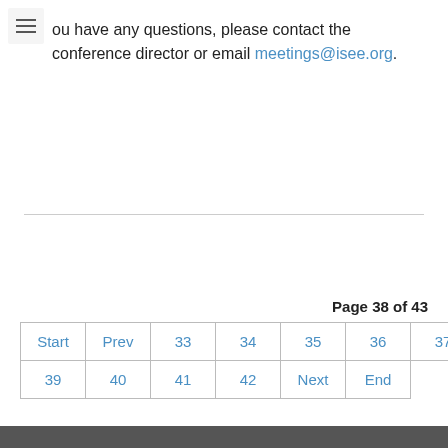ou have any questions, please contact the conference director or email meetings@isee.org.
Page 38 of 43
| Start | Prev | 33 | 34 | 35 | 36 | 37 | 38 |
| 39 | 40 | 41 | 42 | Next | End |